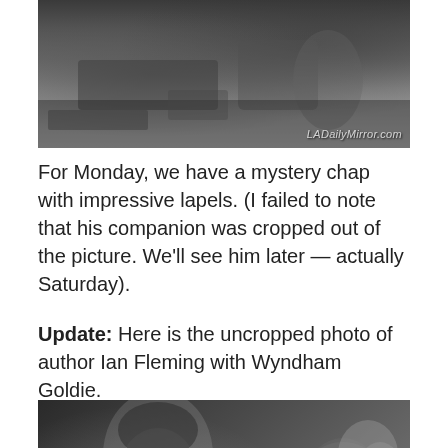[Figure (photo): Black and white photo cropped showing a man with impressive lapels, with watermark LADailyMirror.com in lower right]
For Monday, we have a mystery chap with impressive lapels. (I failed to note that his companion was cropped out of the picture. We’ll see him later — actually Saturday).
Update: Here is the uncropped photo of author Ian Fleming with Wyndham Goldie.
[Figure (photo): Black and white photo showing Ian Fleming (left, younger man with dark hair looking down) and Wyndham Goldie (right, older man with glasses and beard), with a third person visible in background]